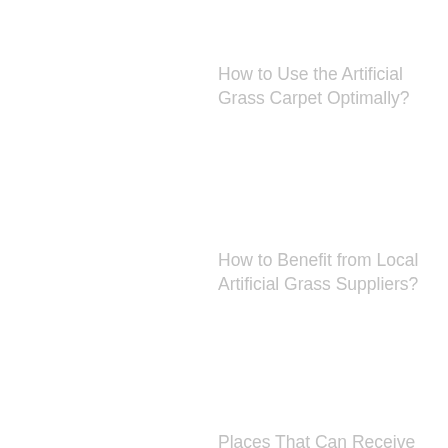How to Use the Artificial Grass Carpet Optimally?
How to Benefit from Local Artificial Grass Suppliers?
Places That Can Receive Beautification with Wholesale Artificial Grass
How To Manage Artificial Grass Installation Cost Effectively?
How to Get the Best Artificial Grass from Artificial Grass Supermarket?